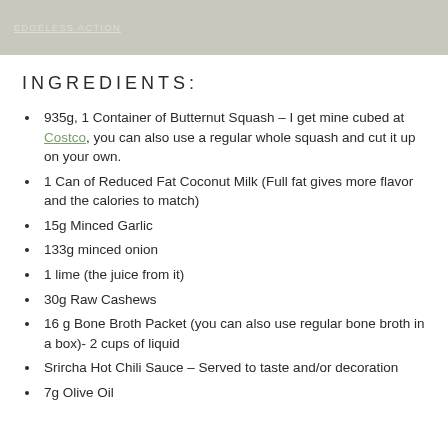[Figure (photo): Header image with textured stone/concrete background and text 'EDGELESS ACTION' in small caps]
INGREDIENTS:
935g, 1 Container of Butternut Squash – I get mine cubed at Costco, you can also use a regular whole squash and cut it up on your own.
1 Can of Reduced Fat Coconut Milk (Full fat gives more flavor and the calories to match)
15g Minced Garlic
133g minced onion
1 lime (the juice from it)
30g Raw Cashews
16 g Bone Broth Packet (you can also use regular bone broth in a box)- 2 cups of liquid
Srircha Hot Chili Sauce – Served to taste and/or decoration
7g Olive Oil